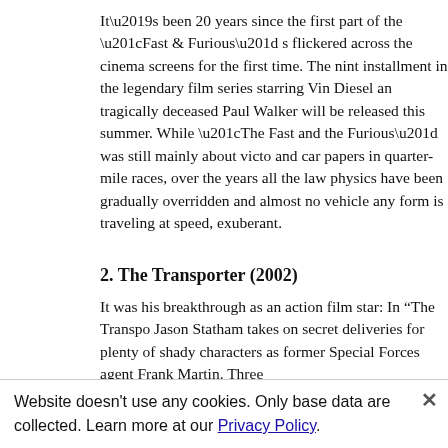It’s been 20 years since the first part of the “Fast & Furious” s flickered across the cinema screens for the first time. The nint installment in the legendary film series starring Vin Diesel an tragically deceased Paul Walker will be released this summer. While “The Fast and the Furious” was still mainly about victo and car papers in quarter-mile races, over the years all the law physics have been gradually overridden and almost no vehicle any form is traveling at speed, exuberant.
2. The Transporter (2002)
It was his breakthrough as an action film star: In “The Transpo Jason Statham takes on secret deliveries for plenty of shady characters as former Special Forces agent Frank Martin. Three …
Website doesn’t use any cookies. Only base data are collected. Learn more at our Privacy Policy.